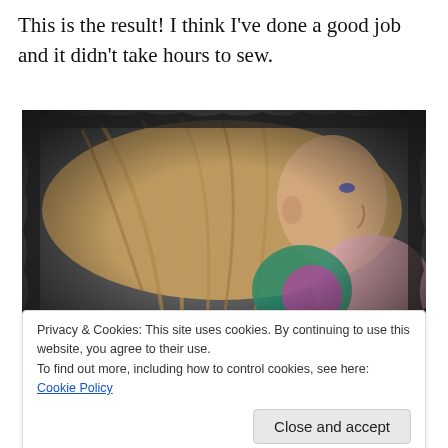This is the result! I think I've done a good job and it didn't take hours to sew.
[Figure (photo): A young girl with long blonde/brown hair viewed from the side, wearing a colorful floral top and a pink jacket, photographed from above on a grey carpet background. The photo has a vignette/torn-edge border effect.]
Privacy & Cookies: This site uses cookies. By continuing to use this website, you agree to their use.
To find out more, including how to control cookies, see here: Cookie Policy
[Figure (photo): Partial view of a colorful floral fabric or clothing item visible at the bottom of the page.]